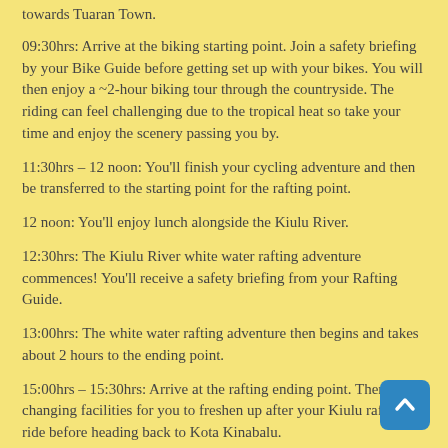towards Tuaran Town.
09:30hrs: Arrive at the biking starting point. Join a safety briefing by your Bike Guide before getting set up with your bikes. You will then enjoy a ~2-hour biking tour through the countryside. The riding can feel challenging due to the tropical heat so take your time and enjoy the scenery passing you by.
11:30hrs – 12 noon: You'll finish your cycling adventure and then be transferred to the starting point for the rafting point.
12 noon: You'll enjoy lunch alongside the Kiulu River.
12:30hrs: The Kiulu River white water rafting adventure commences! You'll receive a safety briefing from your Rafting Guide.
13:00hrs: The white water rafting adventure then begins and takes about 2 hours to the ending point.
15:00hrs – 15:30hrs: Arrive at the rafting ending point. There are changing facilities for you to freshen up after your Kiulu rafting ride before heading back to Kota Kinabalu.
16:00hrs: Start your transfer back to your hotel in central Kota Kinabalu.